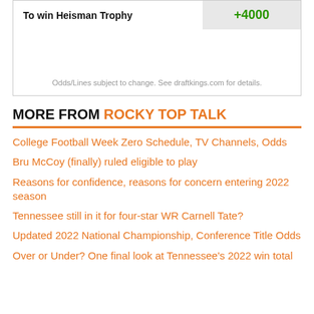| To win Heisman Trophy | +4000 |
| --- | --- |
Odds/Lines subject to change. See draftkings.com for details.
MORE FROM ROCKY TOP TALK
College Football Week Zero Schedule, TV Channels, Odds
Bru McCoy (finally) ruled eligible to play
Reasons for confidence, reasons for concern entering 2022 season
Tennessee still in it for four-star WR Carnell Tate?
Updated 2022 National Championship, Conference Title Odds
Over or Under? One final look at Tennessee's 2022 win total